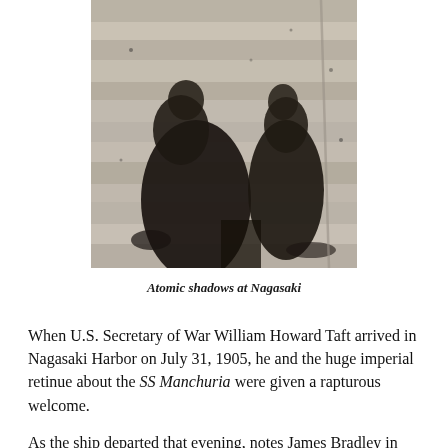[Figure (photo): Black and white photograph showing atomic shadows at Nagasaki — dark silhouettes of human figures burned onto a stone or concrete wall surface]
Atomic shadows at Nagasaki
When U.S. Secretary of War William Howard Taft arrived in Nagasaki Harbor on July 31, 1905, he and the huge imperial retinue about the SS Manchuria were given a rapturous welcome.
As the ship departed that evening, notes James Bradley in his infuriatingly informative history The Imperial Cruise, Nagasaki's mayor toasted Taft and his party with champagne. The Sumo-sized American functionary then led the throng in a war chant to celebrate Japan's battlefield triumphs over Russian forces in